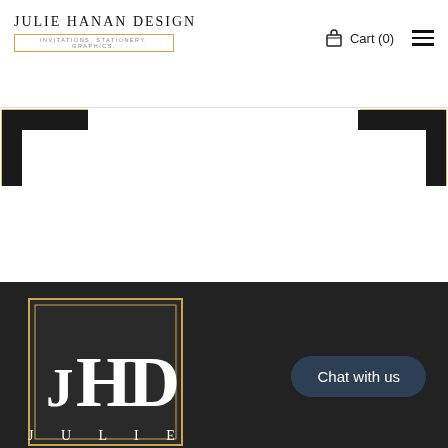JULIE HANAN DESIGN — INVITATIONS. STATIONERY. GRAPHICS. Cart (0)
[Figure (logo): Julie Hanan Design logo with gold corner decorations on left and right sides]
[Figure (logo): JHD monogram logo in white on dark background with gold double-border square frame, with text JULIE below]
Chat with us